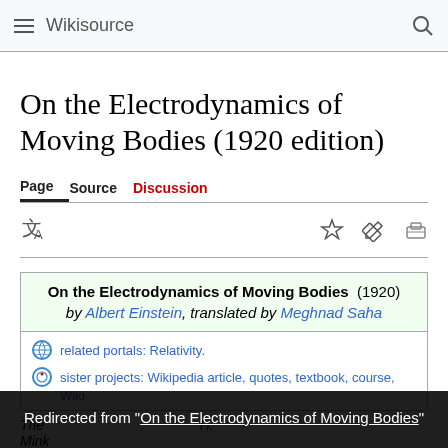Wikisource
On the Electrodynamics of Moving Bodies (1920 edition)
Page  Source  Discussion
On the Electrodynamics of Moving Bodies (1920) by Albert Einstein, translated by Meghnad Saha
related portals: Relativity.
sister projects: Wikipedia article, quotes, textbook, course, Wiki
The ... H. Mink
Redirected from "On the Electrodynamics of Moving Bodies"